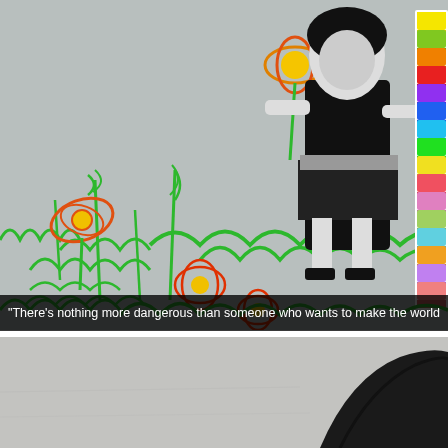[Figure (photo): Banksy-style street art showing a black and white stencil of a girl standing next to colorful crayon/chalk drawings of flowers and grass on a grey wall. On the right side is a vertical strip of colorful crayons.]
“There’s nothing more dangerous than someone who wants to make the world a b...
[Figure (photo): Partial view of another street art or graffiti piece on a grey concrete wall, showing the top of a dark curved shape, possibly a hat or umbrella.]